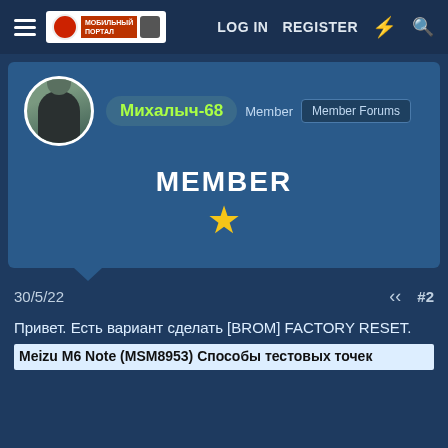LOG IN  REGISTER
[Figure (screenshot): Forum profile card for user Михалыч-68, Member rank with one star, Member Forums button]
30/5/22  #2
Привет. Есть вариант сделать [BROM] FACTORY RESET.
Meizu M6 Note (MSM8953) Способы тестовых точек